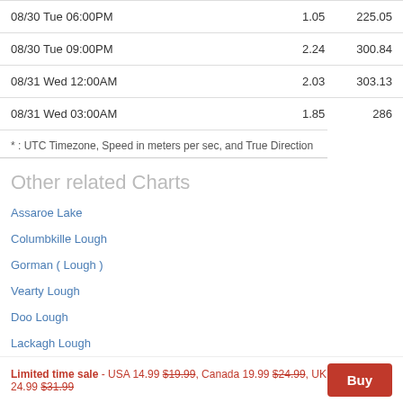| Date/Time | Speed | Direction |
| --- | --- | --- |
| 08/30 Tue 06:00PM | 1.05 | 225.05 |
| 08/30 Tue 09:00PM | 2.24 | 300.84 |
| 08/31 Wed 12:00AM | 2.03 | 303.13 |
| 08/31 Wed 03:00AM | 1.85 | 286 |
* : UTC Timezone, Speed in meters per sec, and True Direction
Other related Charts
Assaroe Lake
Columbkille Lough
Gorman ( Lough )
Vearty Lough
Doo Lough
Lackagh Lough
Limited time sale - USA 14.99 $19.99, Canada 19.99 $24.99, UK 24.99 $31.99